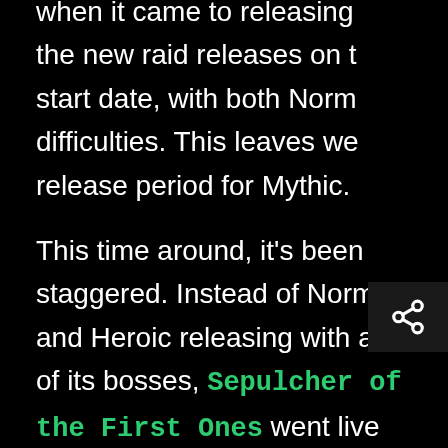when it came to releasing the new raid releases on t start date, with both Norm difficulties. This leaves we release period for Mythic. This time around, it's been staggered. Instead of Normal and Heroic releasing with all of its bosses, Sepulcher of the First Ones went live with the first eight and left the last three to release alongside the Mythic difficulty the following week. On top of that, the last three bosses weren't available for testing in the Public Test Realm (PTR). This means that our predictions for the toughest bosses in Sepulcher of the First